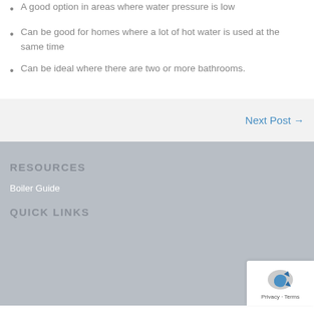A good option in areas where water pressure is low
Can be good for homes where a lot of hot water is used at the same time
Can be ideal where there are two or more bathrooms.
Next Post →
RESOURCES
Boiler Guide
QUICK LINKS